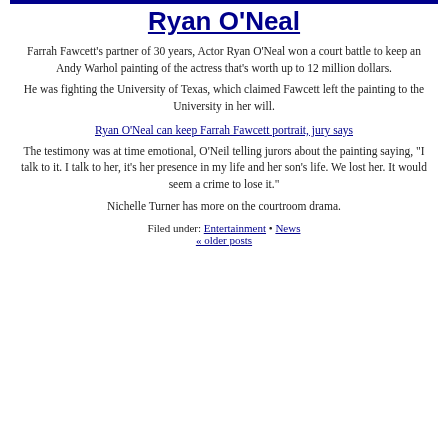Ryan O'Neal
Farrah Fawcett's partner of 30 years, Actor Ryan O'Neal won a court battle to keep an Andy Warhol painting of the actress that's worth up to 12 million dollars.
He was fighting the University of Texas, which claimed Fawcett left the painting to the University in her will.
Ryan O'Neal can keep Farrah Fawcett portrait, jury says
The testimony was at time emotional, O'Neil telling jurors about the painting saying, "I talk to it. I talk to her, it's her presence in my life and her son's life. We lost her. It would seem a crime to lose it."
Nichelle Turner has more on the courtroom drama.
Filed under: Entertainment • News
« older posts